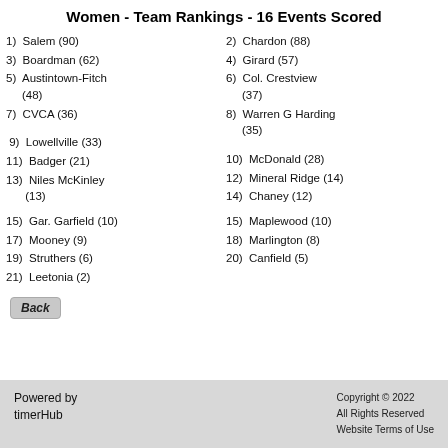Women - Team Rankings - 16 Events Scored
1) Salem (90)
2) Chardon (88)
3) Boardman (62)
4) Girard (57)
5) Austintown-Fitch (48)
6) Col. Crestview (37)
7) CVCA (36)
8) Warren G Harding (35)
9) Lowellville (33)
10) McDonald (28)
11) Badger (21)
12) Mineral Ridge (14)
13) Niles McKinley (13)
14) Chaney (12)
15) Gar. Garfield (10)
15) Maplewood (10)
17) Mooney (9)
18) Marlington (8)
19) Struthers (6)
20) Canfield (5)
21) Leetonia (2)
Powered by timerHub   Copyright © 2022 All Rights Reserved Website Terms of Use